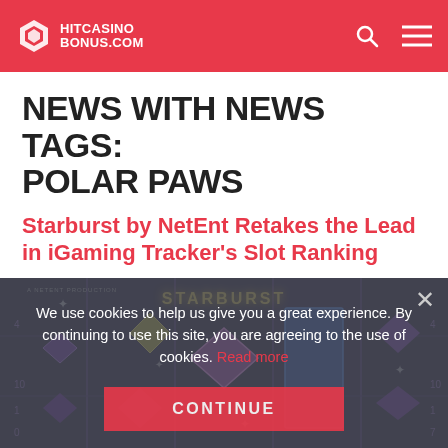HITCASINOBONUS.COM
NEWS WITH NEWS TAGS: POLAR PAWS
Starburst by NetEnt Retakes the Lead in iGaming Tracker's Slot Ranking
[Figure (screenshot): Starburst slot game screenshot with dark purple background, gemstone symbols including diamonds and jewels on reels, with 'STARBURST' logo at top and 'A NETENT PRODUCTION' text, overlaid with a cookie consent popup]
We use cookies to help us give you a great experience. By continuing to use this site, you are agreeing to the use of cookies. Read more
CONTINUE